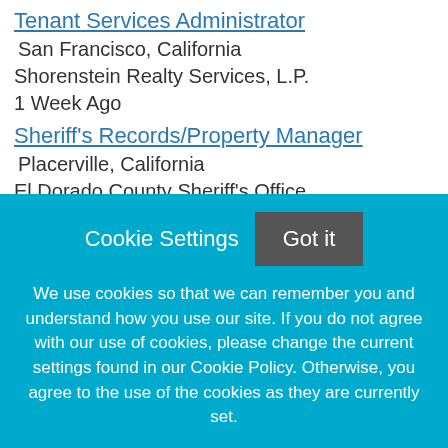Tenant Services Administrator
San Francisco, California
Shorenstein Realty Services, L.P.
1 Week Ago
Sheriff's Records/Property Manager
Placerville, California
El Dorado County Sheriff's Office
3 Weeks Ago
[Figure (logo): El Dorado County Sheriff's Office Logo image placeholder with link text]
Real Estate Asset Management, Associate
Cookie Settings
Got it
We use cookies so that we can remember you and understand how you use our site. If you do not agree with our use of cookies, please change the current settings found in our Cookie Policy. Otherwise, you agree to the use of the cookies as they are currently set.